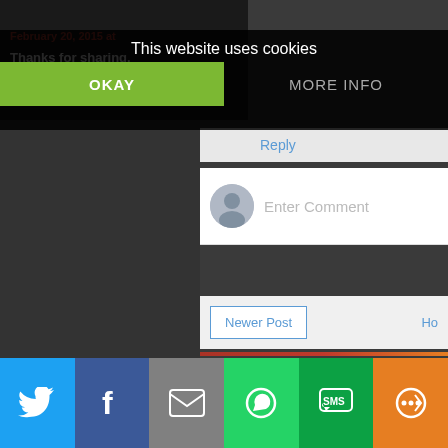This website uses cookies
OKAY
MORE INFO
February 20, 2015 at
Thanks for sharing.
sherry @ yourainmental-
Reply
Enter Comment
Newer Post
Ho
SHAREAHOLLIC
[Figure (screenshot): Social share icons: Facebook, Twitter, Pinterest, LinkedIn, WhatsApp, Email]
[Figure (screenshot): Bottom social share bar with Twitter, Facebook, Email, WhatsApp, SMS, and More buttons]